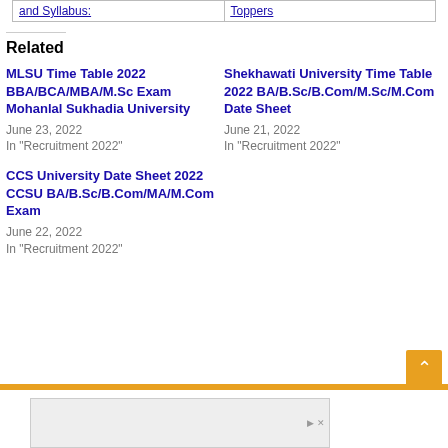| and Syllabus: | Toppers |
| --- | --- |
Related
MLSU Time Table 2022 BBA/BCA/MBA/M.Sc Exam Mohanlal Sukhadia University
June 23, 2022
In "Recruitment 2022"
Shekhawati University Time Table 2022 BA/B.Sc/B.Com/M.Sc/M.Com Date Sheet
June 21, 2022
In "Recruitment 2022"
CCS University Date Sheet 2022 CCSU BA/B.Sc/B.Com/MA/M.Com Exam
June 22, 2022
In "Recruitment 2022"